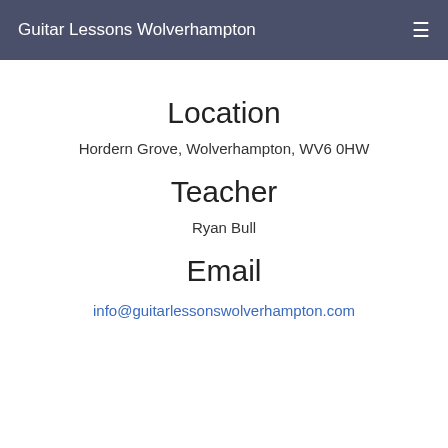Guitar Lessons Wolverhampton
Location
Hordern Grove, Wolverhampton, WV6 0HW
Teacher
Ryan Bull
Email
info@guitarlessonswolverhampton.com